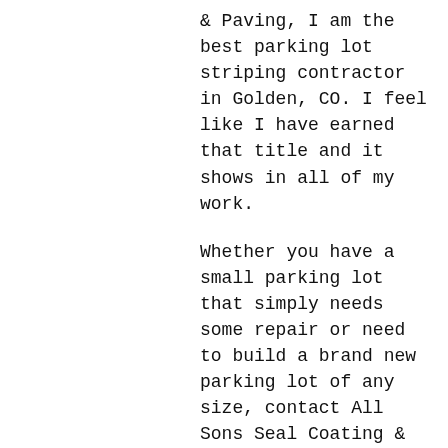& Paving, I am the best parking lot striping contractor in Golden, CO. I feel like I have earned that title and it shows in all of my work.
Whether you have a small parking lot that simply needs some repair or need to build a brand new parking lot of any size, contact All Sons Seal Coating & Paving today. I am sure to have the skills and the experience to do the job right.
I will take any parking lot striping contractor job in Golden, CO and the surrounding area, so just give me a call today for a free estimate.